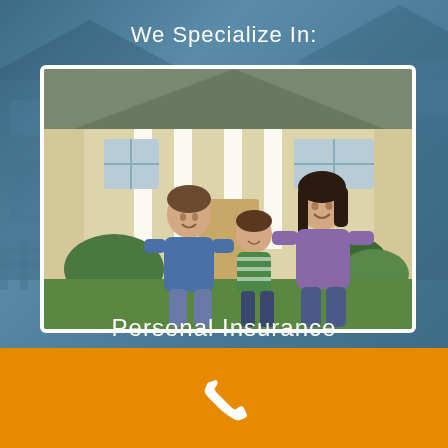We Specialize In:
[Figure (photo): Family of three (father, son, and mother) sitting on grass in front of a large suburban home. Father wearing blue shirt, son in green striped shirt, mother in purple top and jeans. House has columns and large windows.]
Personal Insurance
[Figure (illustration): White telephone/phone handset icon on orange background]